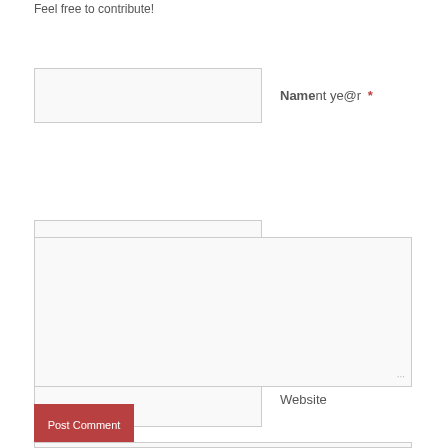Feel free to contribute!
Name *
Comment ye@r *
Email *
Website
Post Comment